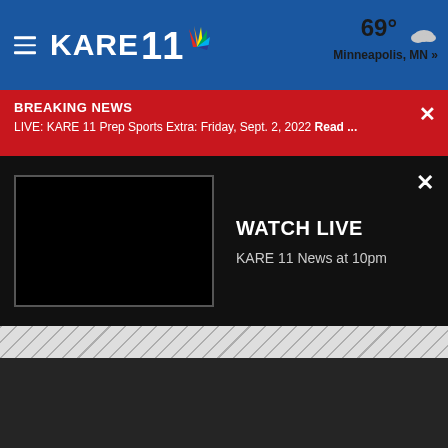KARE 11 — 69° Minneapolis, MN »
BREAKING NEWS
LIVE: KARE 11 Prep Sports Extra: Friday, Sept. 2, 2022 Read ...
WATCH LIVE
KARE 11 News at 10pm
[Figure (screenshot): Diagonal striped gray loading/placeholder area below watch live panel]
[Figure (screenshot): Dark gray footer area at bottom of page]